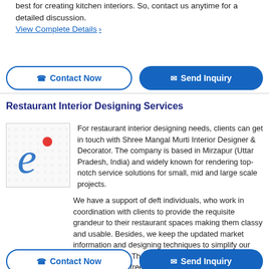best for creating kitchen interiors. So, contact us anytime for a detailed discussion.
View Complete Details ›
Contact Now
Send Inquiry
Restaurant Interior Designing Services
[Figure (logo): Company logo with stylized blue 'e' and red dot, watermark pattern of 'e' letters in background]
For restaurant interior designing needs, clients can get in touch with Shree Mangal Murti Interior Designer & Decorator. The company is based in Mirzapur (Uttar Pradesh, India) and widely known for rendering top-notch service solutions for small, mid and large scale projects.
We have a support of deft individuals, who work in coordination with clients to provide the requisite grandeur to their restaurant spaces making them classy and usable. Besides, we keep the updated market information and designing techniques to simplify our work operations. The fee we charge for our services is reasonable, feel free to contact us anytime.
View Complete Details ›
Contact Now
Send Inquiry